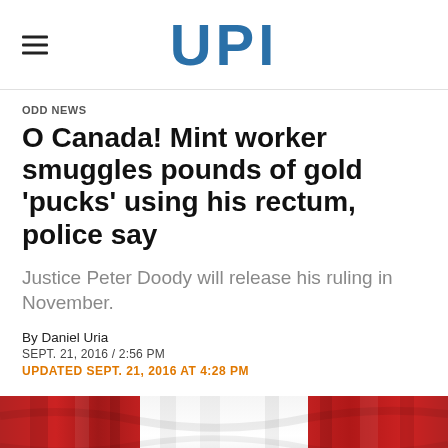UPI
ODD NEWS
O Canada! Mint worker smuggles pounds of gold 'pucks' using his rectum, police say
Justice Peter Doody will release his ruling in November.
By Daniel Uria
SEPT. 21, 2016 / 2:56 PM
UPDATED SEPT. 21, 2016 AT 4:28 PM
[Figure (photo): Canadian flag waving, red and white colors visible]